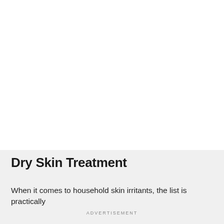Dry Skin Treatment
When it comes to household skin irritants, the list is practically endless — it includes cleaners, detergents, floor polishes, and
ADVERTISEMENT